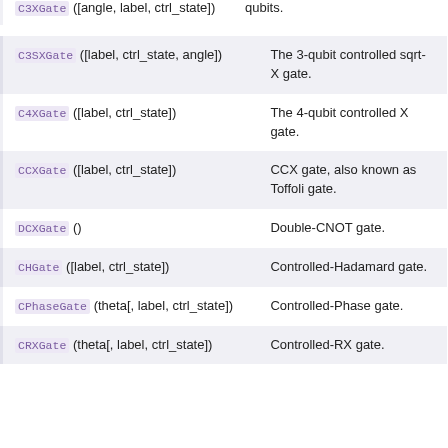| API | Description |
| --- | --- |
| C3XGate ([angle, label, ctrl_state]) | qubits. |
| C3SXGate ([label, ctrl_state, angle]) | The 3-qubit controlled sqrt-X gate. |
| C4XGate ([label, ctrl_state]) | The 4-qubit controlled X gate. |
| CCXGate ([label, ctrl_state]) | CCX gate, also known as Toffoli gate. |
| DCXGate () | Double-CNOT gate. |
| CHGate ([label, ctrl_state]) | Controlled-Hadamard gate. |
| CPhaseGate (theta[, label, ctrl_state]) | Controlled-Phase gate. |
| CRXGate (theta[, label, ctrl_state]) | Controlled-RX gate. |